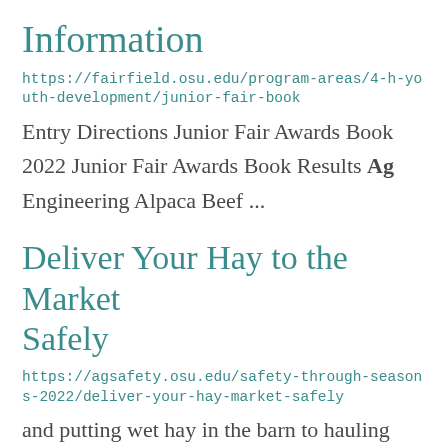Information
https://fairfield.osu.edu/program-areas/4-h-youth-development/junior-fair-book
Entry Directions Junior Fair Awards Book 2022 Junior Fair Awards Book Results Ag Engineering Alpaca Beef ...
Deliver Your Hay to the Market Safely
https://agsafety.osu.edu/safety-through-seasons-2022/deliver-your-hay-market-safely
and putting wet hay in the barn to hauling an unsecure load down the highway.
Today's farming ... operations cover multiple farm acreage away from the home farm,